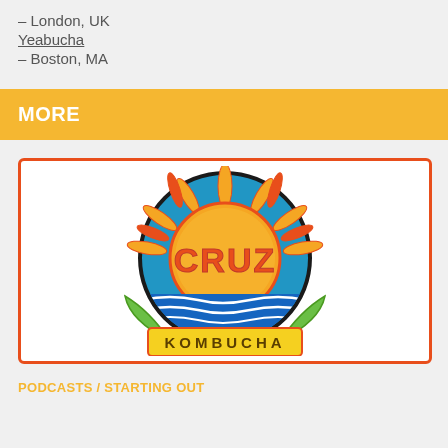– London, UK
Yeabucha
– Boston, MA
MORE
[Figure (logo): Cruz Kombucha logo: circular emblem with a sun featuring flames and 'CRUZ' text, ocean waves, green leaves, and a yellow banner reading 'KOMBUCHA', surrounded by an orange rectangular border]
PODCASTS / STARTING OUT